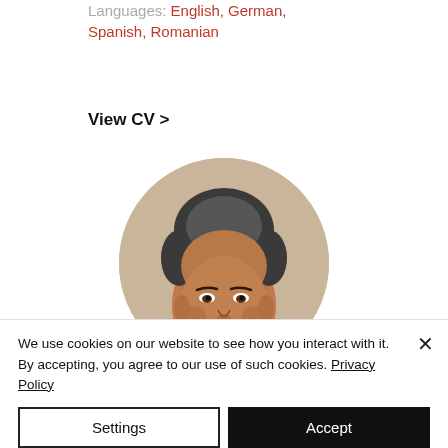Languages: English, German, Spanish, Romanian
View CV >
[Figure (photo): Circular profile photo of a middle-aged man with dark grey hair, looking at the camera, against a beige/warm background.]
We use cookies on our website to see how you interact with it. By accepting, you agree to our use of such cookies. Privacy Policy
Settings
Accept